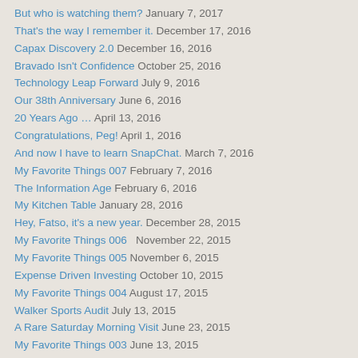But who is watching them? January 7, 2017
That's the way I remember it. December 17, 2016
Capax Discovery 2.0 December 16, 2016
Bravado Isn't Confidence October 25, 2016
Technology Leap Forward July 9, 2016
Our 38th Anniversary June 6, 2016
20 Years Ago … April 13, 2016
Congratulations, Peg! April 1, 2016
And now I have to learn SnapChat. March 7, 2016
My Favorite Things 007 February 7, 2016
The Information Age February 6, 2016
My Kitchen Table January 28, 2016
Hey, Fatso, it's a new year. December 28, 2015
My Favorite Things 006  November 22, 2015
My Favorite Things 005 November 6, 2015
Expense Driven Investing October 10, 2015
My Favorite Things 004 August 17, 2015
Walker Sports Audit July 13, 2015
A Rare Saturday Morning Visit June 23, 2015
My Favorite Things 003 June 13, 2015